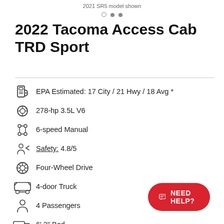2021 SR5 model shown
2022 Tacoma Access Cab TRD Sport
EPA Estimated: 17 City / 21 Hwy / 18 Avg *
278-hp 3.5L V6
6-speed Manual
Safety: 4.8/5
Four-Wheel Drive
4-door Truck
4 Passengers
6' 2" Bed
3 years, 36,000 miles